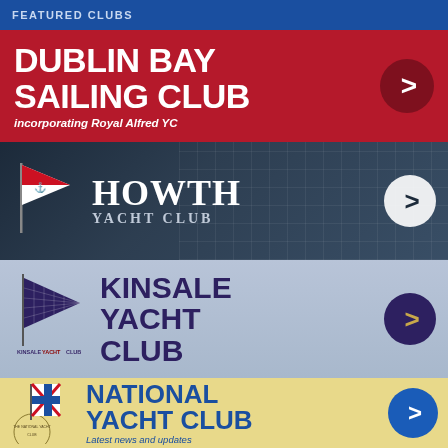FEATURED CLUBS
[Figure (logo): Dublin Bay Sailing Club banner with red background, white bold text reading 'DUBLIN BAY SAILING CLUB incorporating Royal Alfred YC' and a dark red circle with > arrow]
[Figure (logo): Howth Yacht Club banner with dark navy background and grid texture, club flag on left, white serif text 'HOWTH YACHT CLUB', white circle with > arrow on right]
[Figure (logo): Kinsale Yacht Club banner with grey-blue gradient background, purple pennant flag with logo, dark navy text 'KINSALE YACHT CLUB', purple circle with gold > arrow]
[Figure (logo): National Yacht Club banner with yellow/gold background, club flag with cross, blue text 'NATIONAL YACHT CLUB', subtitle 'Latest news and updates', blue circle with white > arrow]